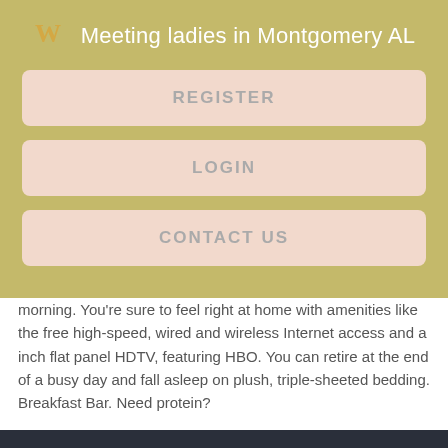Meeting ladies in Montgomery AL
REGISTER
LOGIN
CONTACT US
morning. You're sure to feel right at home with amenities like the free high-speed, wired and wireless Internet access and a inch flat panel HDTV, featuring HBO. You can retire at the end of a busy day and fall asleep on plush, triple-sheeted bedding. Breakfast Bar. Need protein?
[Figure (photo): Dark outdoor photo, partially visible, with a small info icon in the bottom right corner.]